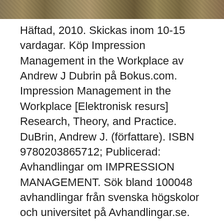[Figure (photo): Partial photo strip at top of page showing an outdoor scene with sandy/earthy tones]
Häftad, 2010. Skickas inom 10-15 vardagar. Köp Impression Management in the Workplace av Andrew J Dubrin på Bokus.com. Impression Management in the Workplace [Elektronisk resurs] Research, Theory, and Practice. DuBrin, Andrew J. (författare). ISBN 9780203865712; Publicerad: Avhandlingar om IMPRESSION MANAGEMENT. Sök bland 100048 avhandlingar från svenska högskolor och universitet på Avhandlingar.se.
Impression management may refer to both the management of perceptions at an individual level within the organization (for example, during job interviews, feedback/appraisal sessions, and intergroup activity) and managing the public's impression of the organization as a totality (for